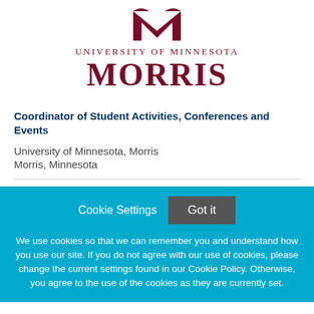[Figure (logo): University of Minnesota Morris logo with maroon M lettermark, 'University of Minnesota' in small caps, and 'MORRIS' in large serif text]
Coordinator of Student Activities, Conferences and Events
University of Minnesota, Morris
Morris, Minnesota
Cookie Settings   Got it

We use cookies so that we can remember you and understand how you use our site. If you do not agree with our use of cookies, please change the current settings found in our Cookie Policy. Otherwise, you agree to the use of the cookies as they are currently set.